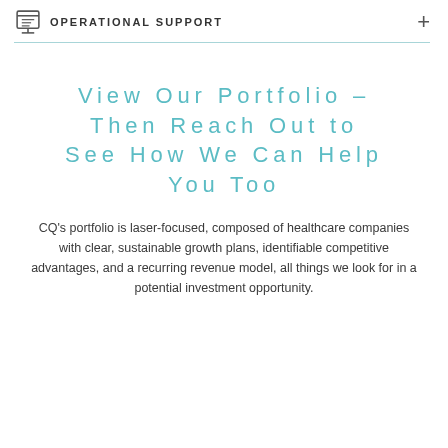OPERATIONAL SUPPORT
View Our Portfolio – Then Reach Out to See How We Can Help You Too
CQ's portfolio is laser-focused, composed of healthcare companies with clear, sustainable growth plans, identifiable competitive advantages, and a recurring revenue model, all things we look for in a potential investment opportunity.